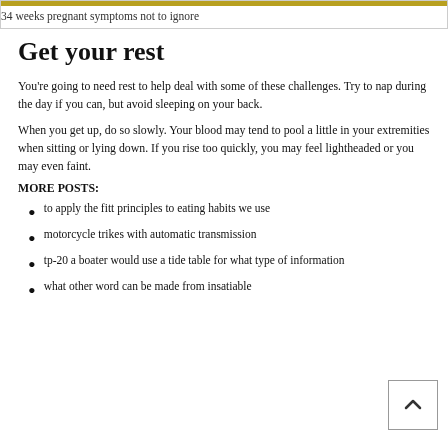34 weeks pregnant symptoms not to ignore
Get your rest
You're going to need rest to help deal with some of these challenges. Try to nap during the day if you can, but avoid sleeping on your back.
When you get up, do so slowly. Your blood may tend to pool a little in your extremities when sitting or lying down. If you rise too quickly, you may feel lightheaded or you may even faint.
MORE POSTS:
to apply the fitt principles to eating habits we use
motorcycle trikes with automatic transmission
tp-20 a boater would use a tide table for what type of information
what other word can be made from insatiable